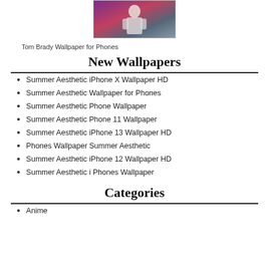[Figure (photo): Photo of Tom Brady in a white hoodie with purple background]
Tom Brady Wallpaper for Phones
New Wallpapers
Summer Aesthetic iPhone X Wallpaper HD
Summer Aesthetic Wallpaper for Phones
Summer Aesthetic Phone Wallpaper
Summer Aesthetic Phone 11 Wallpaper
Summer Aesthetic iPhone 13 Wallpaper HD
Phones Wallpaper Summer Aesthetic
Summer Aesthetic iPhone 12 Wallpaper HD
Summer Aesthetic i Phones Wallpaper
Categories
Anime